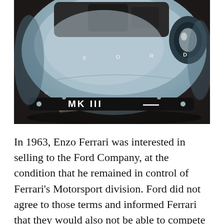[Figure (photo): Close-up top-down view of the front of a silver-blue Ford GT40 MK III racing car, showing the FORD lettering on the hood and the MK III marking on the front bumper, parked on dark asphalt.]
In 1963, Enzo Ferrari was interested in selling to the Ford Company, at the condition that he remained in control of Ferrari's Motorsport division. Ford did not agree to those terms and informed Ferrari that they would also not be able to compete at the Indy 500 because the Indy